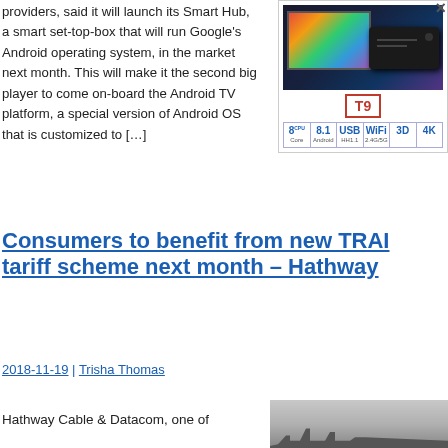providers, said it will launch its Smart Hub, a smart set-top-box that will run Google's Android operating system, in the market next month. This will make it the second big player to come on-board the Android TV platform, a special version of Android OS that is customized to […]
[Figure (photo): T9 Android TV Box product advertisement showing device with TV, specifications: 8-Core, 8.1 Android, USB, WiFi 2.4G/5G, 3D, 4K]
Consumers to benefit from new TRAI tariff scheme next month – Hathway
2018-11-19 | Trisha Thomas
Hathway Cable & Datacom, one of
[Figure (photo): Partial image of a cityscape in foggy/grey conditions]